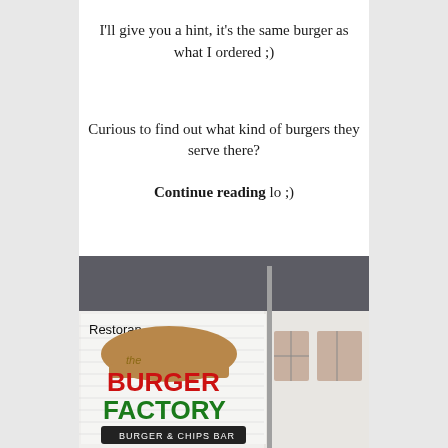I'll give you a hint, it's the same burger as what I ordered ;)
Curious to find out what kind of burgers they serve there?
Continue reading lo ;)
[Figure (photo): Exterior photo of 'The Burger Factory' restaurant showing the sign with 'Restoran', a burger logo with 'the BURGER FACTORY' in red and green text, and 'BURGER & CHIPS BAR' subtitle, with the building facade visible]